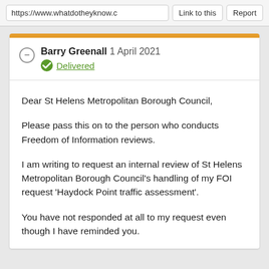https://www.whatdotheyknow.c  Link to this  Report
Barry Greenall 1 April 2021
Delivered
Dear St Helens Metropolitan Borough Council,

Please pass this on to the person who conducts Freedom of Information reviews.

I am writing to request an internal review of St Helens Metropolitan Borough Council's handling of my FOI request 'Haydock Point traffic assessment'.

You have not responded at all to my request even though I have reminded you.